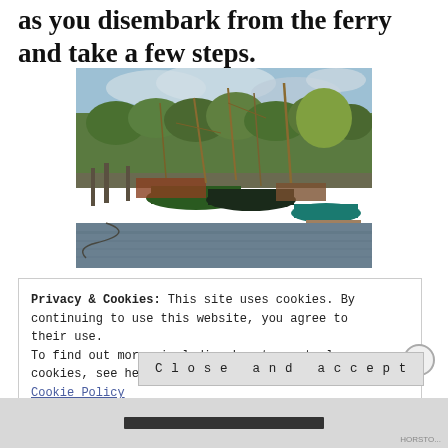as you disembark from the ferry and take a few steps.
[Figure (photo): Harbour scene with sailboats and wooden vessels moored at a dock, with green trees in the background under a cloudy sky and calm water in the foreground.]
Privacy & Cookies: This site uses cookies. By continuing to use this website, you agree to their use.
To find out more, including how to control cookies, see here: Cookie Policy
Close and accept